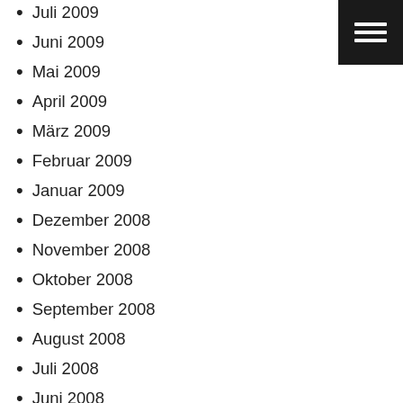Juli 2009
Juni 2009
Mai 2009
April 2009
März 2009
Februar 2009
Januar 2009
Dezember 2008
November 2008
Oktober 2008
September 2008
August 2008
Juli 2008
Juni 2008
Mai 2008
April 2008
März 2008
Februar 2008